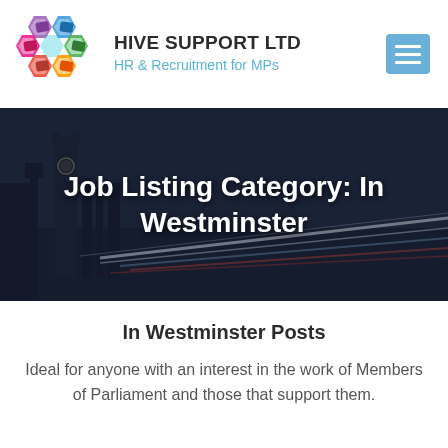[Figure (logo): Hive Support Ltd colorful hexagon logo with multiple colored 3D cubes arranged in a honeycomb pattern]
HIVE SUPPORT LTD
HR & Recruitment for MPs
[Figure (photo): Dark nighttime photo of Big Ben and Westminster with light trails from traffic, overlaid with the title text]
Job Listing Category: In Westminster
In Westminster Posts
Ideal for anyone with an interest in the work of Members of Parliament and those that support them.